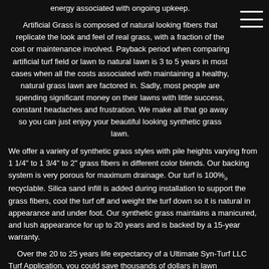energy associated with ongoing upkeep.
Artificial Grass is composed of natural looking fibers that replicate the look and feel of real grass, with a fraction of the cost or maintenance involved. Payback period when comparing artificial turf field or lawn to natural lawn is 3 to 5 years in most cases when all the costs associated with maintaining a healthy, natural grass lawn are factored in. Sadly, most people are spending significant money on their lawns with little success, constant headaches and frustration. We make all that go away so you can just enjoy your beautiful looking synthetic grass lawn.
We offer a variety of synthetic grass styles with pile heights varying from 1 1/4" to 1 3/4" to 2" grass fibers in different color blends. Our backing system is very porous for maximum drainage. Our turf is 100% recyclable. Silica sand infill is added during installation to support the grass fibers, cool the turf off and weight the turf down so it is natural in appearance and under foot. Our synthetic grass maintains a manicured, and lush appearance for up to 20 years and is backed by a 15-year warranty.
Over the 20 to 25 years life expectancy of a Ultimate Syn-Turf LLC Turf Application, you could save thousands of dollars in lawn maintenance costs, as well as, entertain family and friends in a beautiful space that you'll love to show off.